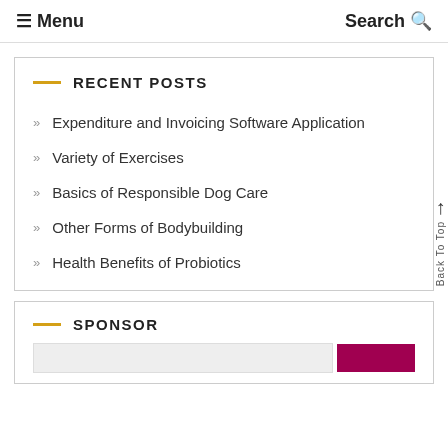≡ Menu    Search Q
RECENT POSTS
Expenditure and Invoicing Software Application
Variety of Exercises
Basics of Responsible Dog Care
Other Forms of Bodybuilding
Health Benefits of Probiotics
SPONSOR